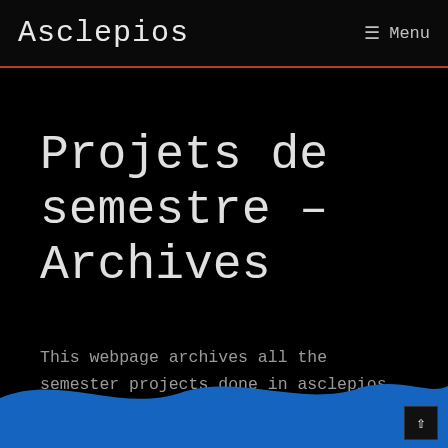Asclepios   ≡ Menu
Projets de semestre – Archives
This webpage archives all the semester projects done in asclepios.